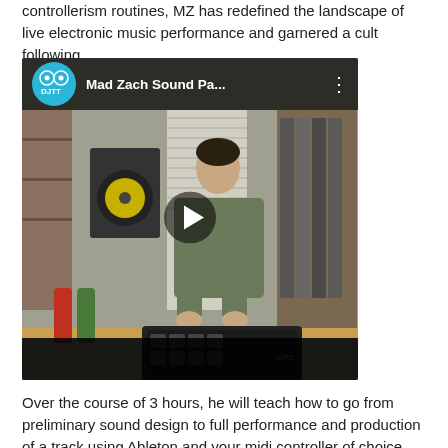controllerism routines, MZ has redefined the landscape of live electronic music performance and garnered a cult following.
[Figure (screenshot): YouTube video thumbnail showing 'Mad Zach Sound Pa...' from DJTT channel, featuring a man playing an Akai MPC controller in a studio with speakers and vinyl records in the background. A play button is visible in the center.]
Over the course of 3 hours, he will teach how to go from preliminary sound design to full performance and production of a track using Ableton and your midi controller of choice.